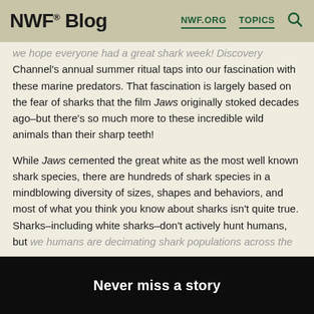NWF® Blog  NWF.ORG  TOPICS
we hope everyone had a great shark week! Discovery Channel's annual summer ritual taps into our fascination with these marine predators. That fascination is largely based on the fear of sharks that the film Jaws originally stoked decades ago–but there's so much more to these incredible wild animals than their sharp teeth!
While Jaws cemented the great white as the most well known shark species, there are hundreds of shark species in a mindblowing diversity of sizes, shapes and behaviors, and most of what you think you know about sharks isn't quite true. Sharks–including white sharks–don't actively hunt humans, but we humans are decimating shark populations across the
Never miss a story
SIGN UP NOW